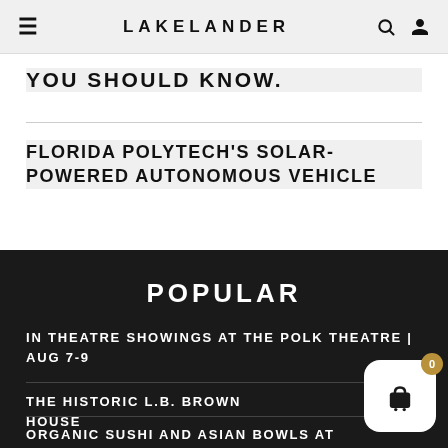LAKELANDER
YOU SHOULD KNOW.
FLORIDA POLYTECH'S SOLAR-POWERED AUTONOMOUS VEHICLE
POPULAR
IN THEATRE SHOWINGS AT THE POLK THEATRE | AUG 7-9
THE HISTORIC L.B. BROWN HOUSE
ORGANIC SUSHI AND ASIAN BOWLS AT GREENWISE